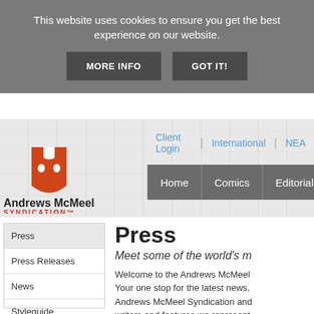This website uses cookies to ensure you get the best experience on our website.
MORE INFO
GOT IT!
[Figure (logo): Andrews McMeel Syndication logo with orange shield/face icon and company name]
Client Login | International | NEA
Home | Comics | Editorial | Features
Press
Press Releases
News
Styleguide
Press
Meet some of the world's m
Welcome to the Andrews McMeel Your one stop for the latest news, Andrews McMeel Syndication and writers and features we represent